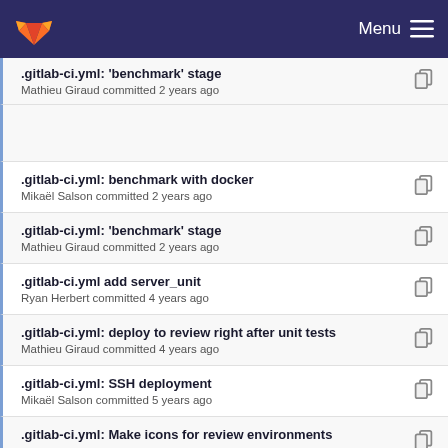GitLab — Menu
.gitlab-ci.yml: 'benchmark' stage — Mathieu Giraud committed 2 years ago
.gitlab-ci.yml: benchmark with docker — Mikaël Salson committed 2 years ago
.gitlab-ci.yml: 'benchmark' stage — Mathieu Giraud committed 2 years ago
.gitlab-ci.yml add server_unit — Ryan Herbert committed 4 years ago
.gitlab-ci.yml: deploy to review right after unit tests — Mathieu Giraud committed 4 years ago
.gitlab-ci.yml: SSH deployment — Mikaël Salson committed 5 years ago
.gitlab-ci.yml: Make icons for review environments